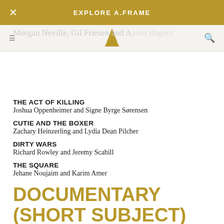EXPLORE A.FRAME
Morgan Neville, Gil Friesen and Aaron Rogers
THE ACT OF KILLING
Joshua Oppenheimer and Signe Byrge Sørensen
CUTIE AND THE BOXER
Zachary Heinzerling and Lydia Dean Pilcher
DIRTY WARS
Richard Rowley and Jeremy Scahill
THE SQUARE
Jehane Noujaim and Karim Amer
DOCUMENTARY (SHORT SUBJECT)
WINNER
THE LADY IN NUMBER 6: MUSIC SAVED MY LIFE